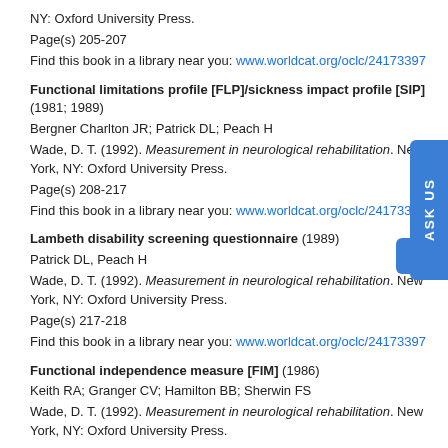NY: Oxford University Press.
Page(s) 205-207
Find this book in a library near you: www.worldcat.org/oclc/24173397
Functional limitations profile [FLP]/sickness impact profile [SIP] (1981; 1989)
Bergner Charlton JR; Patrick DL; Peach H
Wade, D. T. (1992). Measurement in neurological rehabilitation. New York, NY: Oxford University Press.
Page(s) 208-217
Find this book in a library near you: www.worldcat.org/oclc/24173397
Lambeth disability screening questionnaire (1989)
Patrick DL, Peach H
Wade, D. T. (1992). Measurement in neurological rehabilitation. New York, NY: Oxford University Press.
Page(s) 217-218
Find this book in a library near you: www.worldcat.org/oclc/24173397
Functional independence measure [FIM] (1986)
Keith RA; Granger CV; Hamilton BB; Sherwin FS
Wade, D. T. (1992). Measurement in neurological rehabilitation. New York, NY: Oxford University Press.